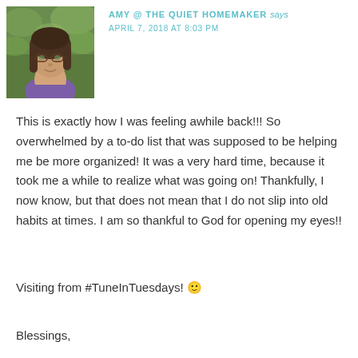[Figure (photo): Profile photo of a woman with long dark hair and glasses, wearing a purple shirt, with a green outdoor background.]
AMY @ THE QUIET HOMEMAKER says
APRIL 7, 2018 AT 8:03 PM
This is exactly how I was feeling awhile back!!! So overwhelmed by a to-do list that was supposed to be helping me be more organized! It was a very hard time, because it took me a while to realize what was going on! Thankfully, I now know, but that does not mean that I do not slip into old habits at times. I am so thankful to God for opening my eyes!!
Visiting from #TuneInTuesdays! 🙂
Blessings,